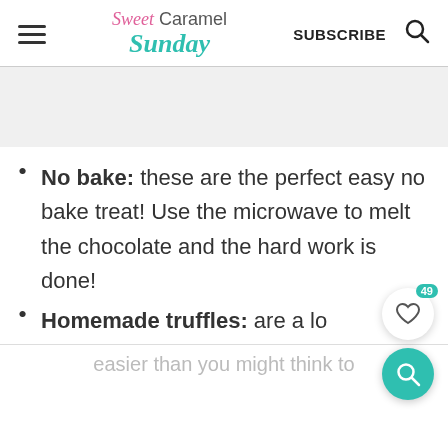Sweet Caramel Sunday | SUBSCRIBE | [search icon]
No bake: these are the perfect easy no bake treat! Use the microwave to melt the chocolate and the hard work is done!
Homemade truffles: are a lot easier than you might think to